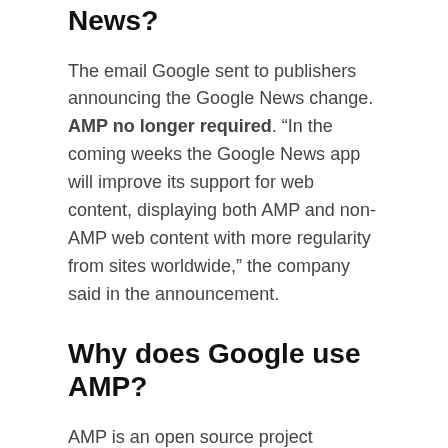News?
The email Google sent to publishers announcing the Google News change. AMP no longer required. “In the coming weeks the Google News app will improve its support for web content, displaying both AMP and non-AMP web content with more regularity from sites worldwide,” the company said in the announcement.
Why does Google use AMP?
AMP is an open source project designed to help web publishers create mobile-optimized content that loads instantly on all devices, according to Google. “We want webpages with rich content like video, animations and graphics to work alongside smart ads, and to load instantaneously,” Google wrote in a blog